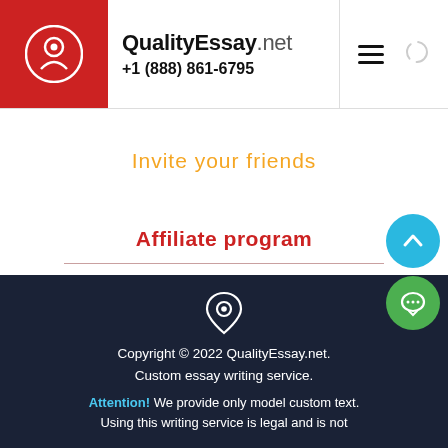QualityEssay.net +1 (888) 861-6795
Invite your friends
Affiliate program
Copyright © 2022 QualityEssay.net. Custom essay writing service. Attention! We provide only model custom text. Using this writing service is legal and is not